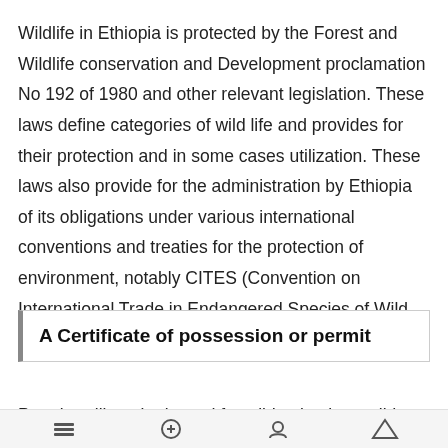Wildlife in Ethiopia is protected by the Forest and Wildlife conservation and Development proclamation No 192 of 1980 and other relevant legislation. These laws define categories of wild life and provides for their protection and in some cases utilization. These laws also provide for the administration by Ethiopia of its obligations under various international conventions and treaties for the protection of environment, notably CITES (Convention on International Trade in Endangered Species of Wild fauna and flora.)
A Certificate of possession or permit
Permits will not be issued for wild animals or wild plants or